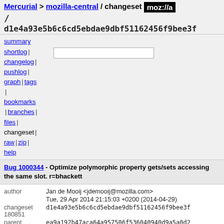Mercurial > mozilla-central / changeset / d1e4a93e5b6c6cd5ebdae9dbf51162456f9bee3f
summary | shortlog | changelog | pushlog | graph | tags | bookmarks | branches | files | changeset | raw | zip | help
Bug 1000344 - Optimize polymorphic property gets/sets accessing the same slot. r=bhackett
| field | value |
| --- | --- |
| author | Jan de Mooij <jdemooij@mozilla.com> |
|  | Tue, 29 Apr 2014 21:15:03 +0200 (2014-04-29) |
| changeset 180851 | d1e4a93e5b6c6cd5ebdae9dbf51162456f9bee3f |
| parent 180796 | ea9a192b47aca64a957506f536040940d9a5a0d2 |
| child 180852 | bb7af0cf48d6e47899b30f8a84d522e5b878a245 |
| push id | 26683 |
| push user | ryanvm@gmail.com |